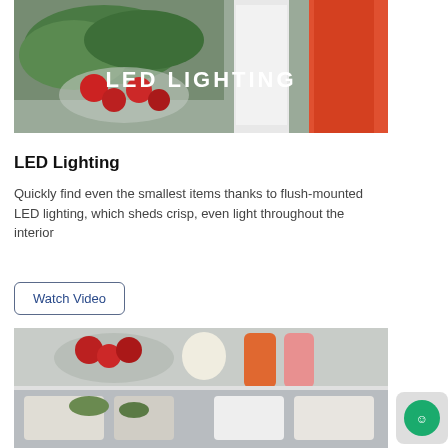[Figure (photo): Refrigerator interior showing green leafy vegetables, red strawberries in a bowl, white container and orange/red bottles, with 'LED LIGHTING' text overlay in white]
LED Lighting
Quickly find even the smallest items thanks to flush-mounted LED lighting, which sheds crisp, even light throughout the interior
Watch Video
[Figure (photo): Refrigerator interior close-up showing food items including red tomatoes or berries in a bowl, a white egg or onion, orange bottle with pink liquid, and wrapped white items on lower shelf]